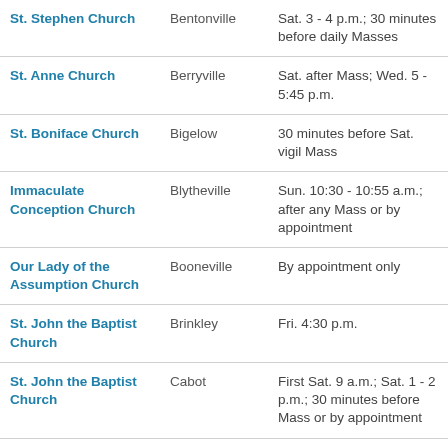| Church | City | Confession Times |
| --- | --- | --- |
| St. Stephen Church | Bentonville | Sat. 3 - 4 p.m.; 30 minutes before daily Masses |
| St. Anne Church | Berryville | Sat. after Mass; Wed. 5 - 5:45 p.m. |
| St. Boniface Church | Bigelow | 30 minutes before Sat. vigil Mass |
| Immaculate Conception Church | Blytheville | Sun. 10:30 - 10:55 a.m.; after any Mass or by appointment |
| Our Lady of the Assumption Church | Booneville | By appointment only |
| St. John the Baptist Church | Brinkley | Fri. 4:30 p.m. |
| St. John the Baptist Church | Cabot | First Sat. 9 a.m.; Sat. 1 - 2 p.m.; 30 minutes before Mass or by appointment |